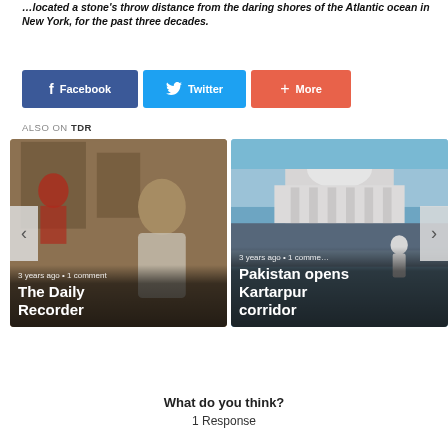…located a stone's throw distance from the daring shores of the Atlantic ocean in New York, for the past three decades.
[Figure (infographic): Social sharing buttons: Facebook (blue), Twitter (light blue), More (coral/red)]
ALSO ON TDR
[Figure (infographic): Carousel with two article cards: 'The Daily Recorder' (3 years ago, 1 comment) and 'Pakistan opens Kartarpur corridor' (3 years ago, 1 comment), with left and right navigation arrows]
What do you think?
1 Response